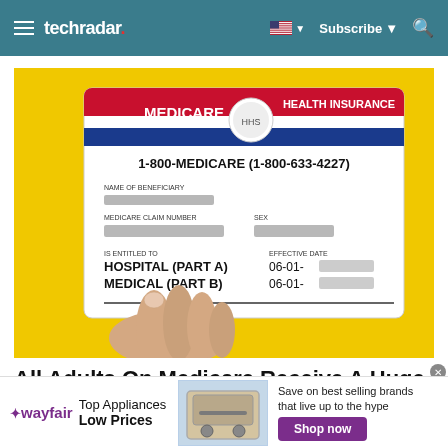techradar — Subscribe
[Figure (photo): A hand holding a Medicare Health Insurance card against a yellow background. The card shows: MEDICARE / HEALTH INSURANCE, 1-800-MEDICARE (1-800-633-4227), NAME OF BENEFICIARY (redacted), MEDICARE CLAIM NUMBER (redacted), SEX (redacted), IS ENTITLED TO: HOSPITAL (PART A) / MEDICAL (PART B), EFFECTIVE DATE: 06-01- (redacted)]
All Adults On Medicare Receive A Huge Benefit (Check If You Qualify)
[Figure (infographic): Wayfair advertisement banner: Top Appliances Low Prices, image of stove/oven, Save on best selling brands that live up to the hype, Shop now button]